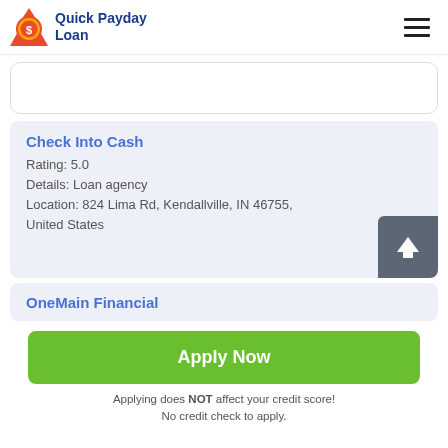Quick Payday Loan
Check Into Cash
Rating: 5.0
Details: Loan agency
Location: 824 Lima Rd, Kendallville, IN 46755, United States
OneMain Financial
Apply Now
Applying does NOT affect your credit score! No credit check to apply.